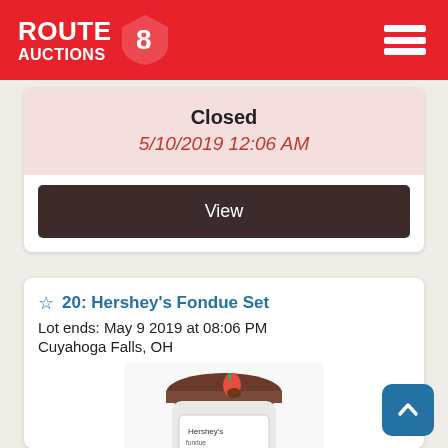Route 8 Auctions
Closed
5/10/2019 12:06 AM
View
20: Hershey's Fondue Set
Lot ends: May 9 2019 at 08:06 PM
Cuyahoga Falls, OH
[Figure (photo): Hershey's fondue set product photo showing a glass fondue pot with a strawberry dipped in chocolate and the Hershey's brand label]